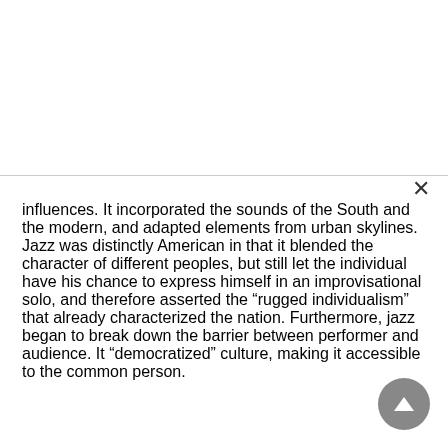influences. It incorporated the sounds of the South and the modern, and adapted elements from urban skylines. Jazz was distinctly American in that it blended the character of different peoples, but still let the individual have his chance to express himself in an improvisational solo, and therefore asserted the “rugged individualism” that already characterized the nation. Furthermore, jazz began to break down the barrier between performer and audience. It “democratized” culture, making it accessible to the common person.